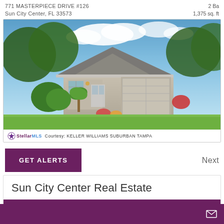771 MASTERPIECE DRIVE #126
Sun City Center, FL 33573
2 Ba
1,375 sq. ft
[Figure (photo): Exterior photo of a single-story residential home with gray stucco facade, two-car garage, landscaped front yard with palm trees and tropical plants, green lawn in foreground, blue sky with clouds in background]
Stellar MLS  Courtesy: KELLER WILLIAMS SUBURBAN TAMPA
GET ALERTS
Next
Sun City Center Real Estate